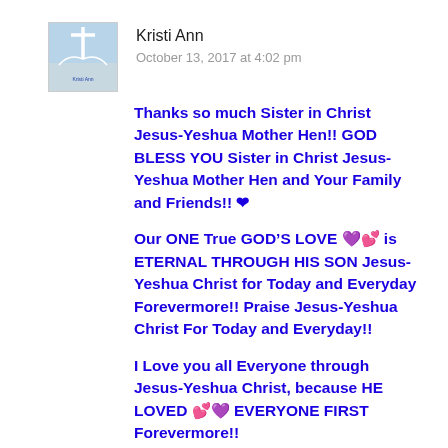[Figure (photo): Small avatar image with a cross/religious theme, blue and white colors]
Kristi Ann
October 13, 2017 at 4:02 pm
Thanks so much Sister in Christ Jesus-Yeshua Mother Hen!! GOD BLESS YOU Sister in Christ Jesus-Yeshua Mother Hen and Your Family and Friends!! ❤
Our ONE True GOD'S LOVE 💜💕 is ETERNAL THROUGH HIS SON Jesus-Yeshua Christ for Today and Everyday Forevermore!! Praise Jesus-Yeshua Christ For Today and Everyday!!
I Love you all Everyone through Jesus-Yeshua Christ, because HE LOVED 💕💜 EVERYONE FIRST Forevermore!!